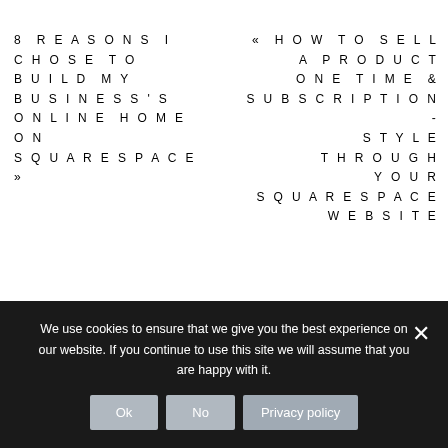8 REASONS I CHOSE TO BUILD MY BUSINESS'S ONLINE HOME ON SQUARESPACE »
« HOW TO SELL A PRODUCT ONE TIME & SUBSCRIPTION-STYLE THROUGH YOUR SQUARESPACE WEBSITE
We use cookies to ensure that we give you the best experience on our website. If you continue to use this site we will assume that you are happy with it.